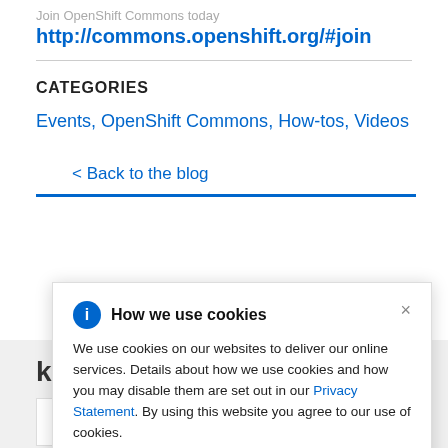http://commons.openshift.org/#join
CATEGORIES
Events, OpenShift Commons, How-tos, Videos
< Back to the blog
How we use cookies
We use cookies on our websites to deliver our online services. Details about how we use cookies and how you may disable them are set out in our Privacy Statement. By using this website you agree to our use of cookies.